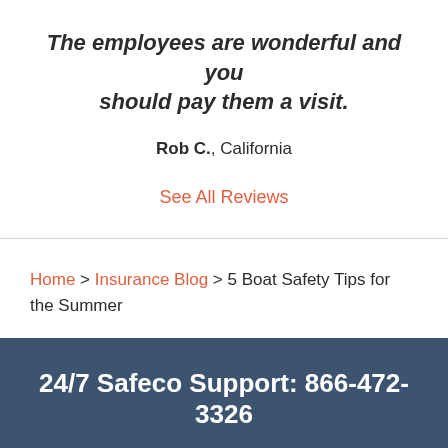The employees are wonderful and you should pay them a visit.
Rob C., California
See All Reviews
Home > Insurance Blog > 5 Boat Safety Tips for the Summer
24/7 Safeco Support: 866-472-3326